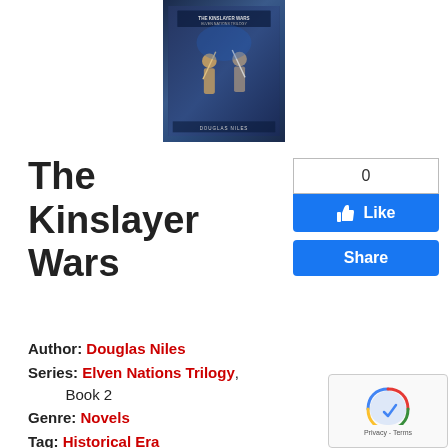[Figure (illustration): Book cover for The Kinslayer Wars showing fantasy figures with swords against a dark blue background]
The Kinslayer Wars
[Figure (infographic): Like button with count 0 and Share button, both blue Facebook-style buttons]
Author: Douglas Niles
Series: Elven Nations Trilogy, Book 2
Genre: Novels
Tag: Historical Era
The leader of the Wildrunners, Kith-Kanan, commits the ultimate heresy and falls in love with a human of intriguing background. His twin brother, the firstborn ruler of all